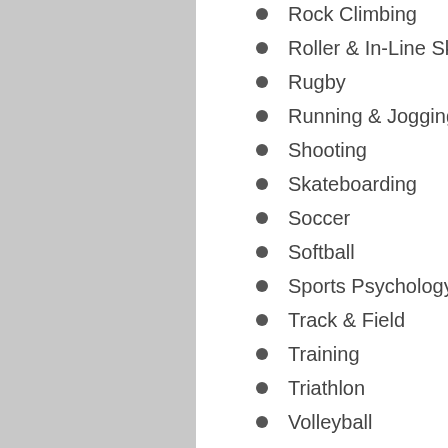Rock Climbing
Roller & In-Line Skating
Rugby
Running & Jogging
Shooting
Skateboarding
Soccer
Softball
Sports Psychology
Track & Field
Training
Triathlon
Volleyball
Walking
Water Sports
Winter Sports
Wrestling